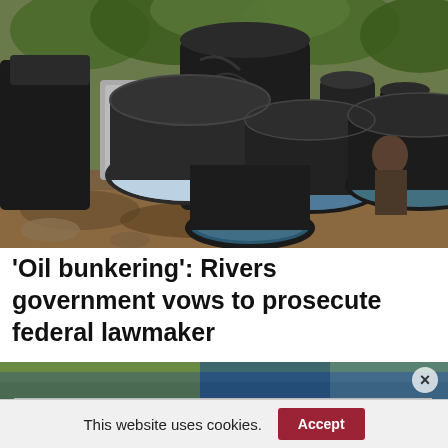[Figure (photo): Outdoor scene showing multiple large metal drums and barrels, some filled with liquid (appears bluish-white), arranged on rocky/muddy ground with vegetation in the background. A person is partially visible among the barrels. Associated with oil bunkering activity.]
'Oil bunkering': Rivers government vows to prosecute federal lawmaker
[Figure (photo): Partially visible second news image showing a blurred colorful scene, cropped at the bottom of the article area.]
Bicicleta y peaton conductor
This website uses cookies.